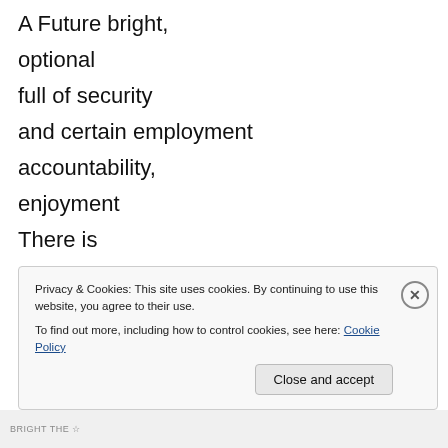A Future bright,
optional
full of security
and certain employment
accountability,
enjoyment
There is
A Future Behind Black Boys,
one without Jordan
or his shoes
Privacy & Cookies: This site uses cookies. By continuing to use this website, you agree to their use.
To find out more, including how to control cookies, see here: Cookie Policy
Close and accept
BRIGHT THE ☆